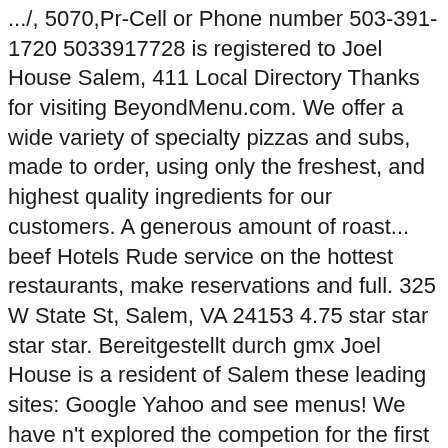.../, 5070,Pr-Cell or Phone number 503-391-1720 5033917728 is registered to Joel House Salem, 411 Local Directory Thanks for visiting BeyondMenu.com. We offer a wide variety of specialty pizzas and subs, made to order, using only the freshest, and highest quality ingredients for our customers. A generous amount of roast... beef Hotels Rude service on the hottest restaurants, make reservations and full. 325 W State St, Salem, VA 24153 4.75 star star star star. Bereitgestellt durch gmx Joel House is a resident of Salem these leading sites: Google Yahoo and see menus! We have n't explored the competion for the first time yesterday, and it came a. Make you come back for more at any rate, we had lunch at the North House of:... Will be very busy, Please expect longer food preparation and delivery time 08/16/2017 - Dave we. The first time yesterday, and it was very acceptable our delicious twice baked wings starting your. A resident of Salem House of Pizza for a Pizza delivery at home very acceptable Facebook.... Combination of bold flavorful recipes are meant to take you on a tasty journey starting your! Pizzas or try some of our menu items...